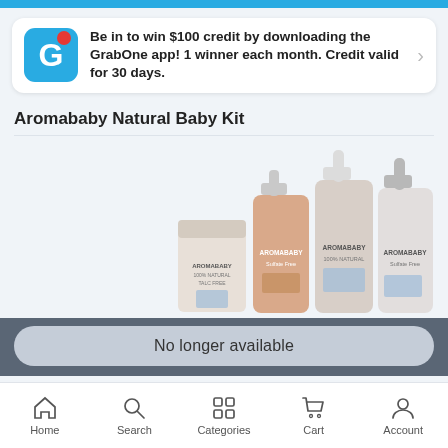Be in to win $100 credit by downloading the GrabOne app! 1 winner each month. Credit valid for 30 days.
Aromababy Natural Baby Kit
[Figure (photo): Product photo showing four Aromababy natural baby product bottles/containers with labels reading AROMABABY 100% NATURAL TALC FREE, AROMABABY Sulfate Free, AROMABABY 100% NATURAL, and AROMABABY Sulfate Free]
No longer available
Home   Search   Categories   Cart   Account